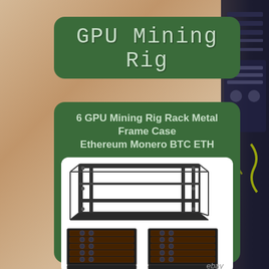GPU Mining Rig
6 GPU Mining Rig Rack Metal Frame Case Ethereum Monero BTC ETH
[Figure (photo): Product photos of a 6 GPU mining rig rack metal frame case, showing the open aluminum frame from multiple angles with and without graphics cards installed. eBay watermark visible.]